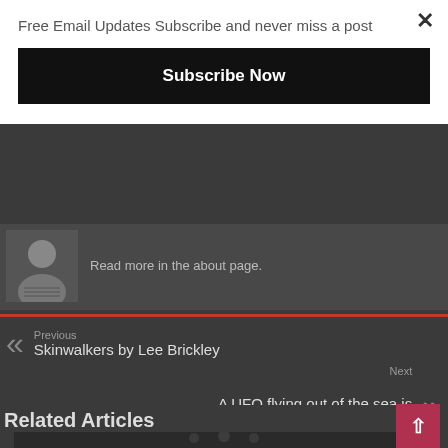Free Email Updates Subscribe and never miss a post
Subscribe Now
Read more in the about page.
Previous
Skinwalkers by Lee Brickley
Next
A UFO flying out of the sea is caught on camera at an airshow in Miami
Related Articles